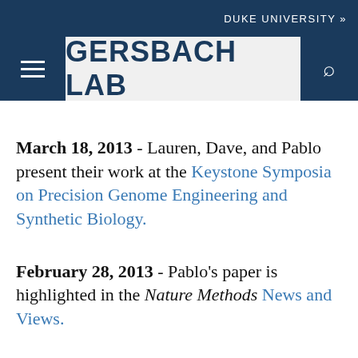DUKE UNIVERSITY »
GERSBACH LAB
March 18, 2013 - Lauren, Dave, and Pablo present their work at the Keystone Symposia on Precision Genome Engineering and Synthetic Biology.
February 28, 2013 - Pablo's paper is highlighted in the Nature Methods News and Views.